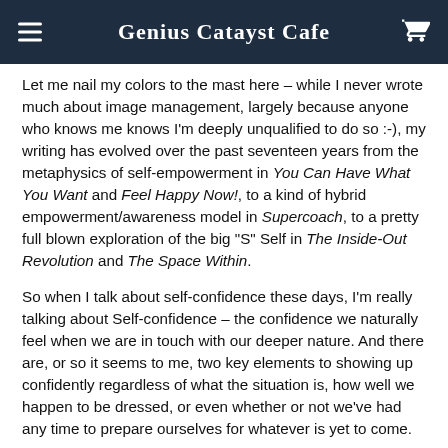Genius Catayst Cafe
Let me nail my colors to the mast here – while I never wrote much about image management, largely because anyone who knows me knows I'm deeply unqualified to do so :-), my writing has evolved over the past seventeen years from the metaphysics of self-empowerment in You Can Have What You Want and Feel Happy Now!, to a kind of hybrid empowerment/awareness model in Supercoach, to a pretty full blown exploration of the big "S" Self in The Inside-Out Revolution and The Space Within.
So when I talk about self-confidence these days, I'm really talking about Self-confidence – the confidence we naturally feel when we are in touch with our deeper nature. And there are, or so it seems to me, two key elements to showing up confidently regardless of what the situation is, how well we happen to be dressed, or even whether or not we've had any time to prepare ourselves for whatever is yet to come.